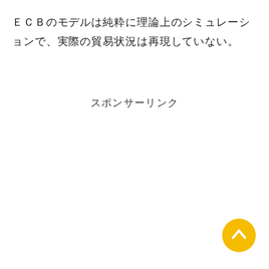ＥＣＢのモデルは純粋に理論上のシミュレーションで、実際の貿易状況は再現していない。
スポンサーリンク
[Figure (other): Yellow circular button with upward-pointing chevron arrow, positioned at bottom-right corner]